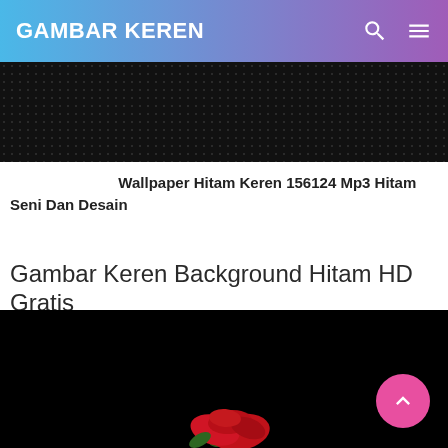GAMBAR KEREN
[Figure (photo): Dark black background image with dot pattern texture]
Wallpaper Hitam Keren 156124 Mp3 Hitam Seni Dan Desain
Gambar Keren Background Hitam HD Gratis
[Figure (photo): Black background with red rose visible at the bottom edge]